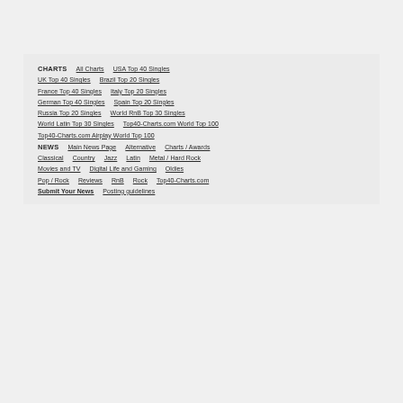CHARTS  All Charts  USA Top 40 Singles
UK Top 40 Singles  Brazil Top 20 Singles
France Top 40 Singles  Italy Top 20 Singles
German Top 40 Singles  Spain Top 20 Singles
Russia Top 20 Singles  World RnB Top 30 Singles
World Latin Top 30 Singles  Top40-Charts.com World Top 100
Top40-Charts.com Airplay World Top 100
NEWS  Main News Page  Alternative  Charts / Awards
Classical  Country  Jazz  Latin  Metal / Hard Rock
Movies and TV  Digital Life and Gaming  Oldies
Pop / Rock  Reviews  RnB  Rock  Top40-Charts.com
Submit Your News  Posting guidelines